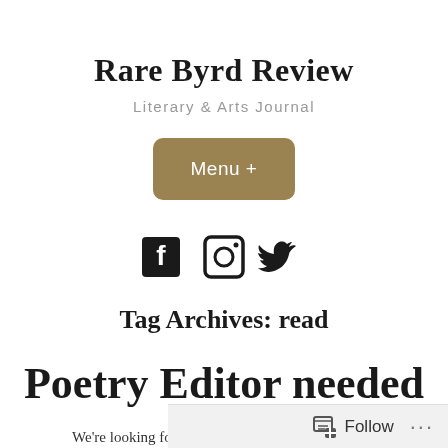Rare Byrd Review
Literary & Arts Journal
[Figure (screenshot): Menu button with golden/tan rounded rectangle background, white text reading 'Menu +']
[Figure (screenshot): Social media icons: Facebook, Instagram, Twitter in black]
Tag Archives: read
Poetry Editor needed
We're looking for a new Poetry Editor to join the...
Follow ...